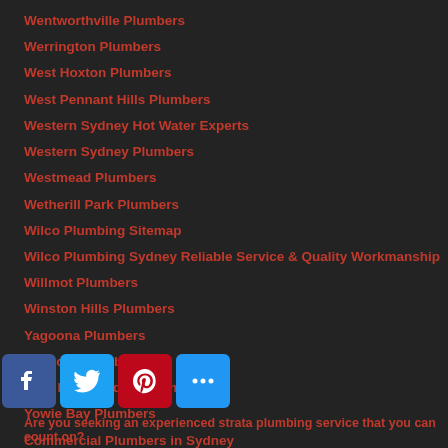Wentworthville Plumbers
Werrington Plumbers
West Hoxton Plumbers
West Pennant Hills Plumbers
Western Sydney Hot Water Experts
Western Sydney Plumbers
Westmead Plumbers
Wetherill Park Plumbers
Wilco Plumbing Sitemap
Wilco Plumbing Sydney Reliable Service & Quality Workmanship
Willmot Plumbers
Winston Hills Plumbers
Yagoona Plumbers
Yennora Plumbers
Your Local Sydney Plumbers
Yowie Bay Plumbers
Commercial Plumbers in Sydney
Are you seeking an experienced strata plumbing service that you can count on?